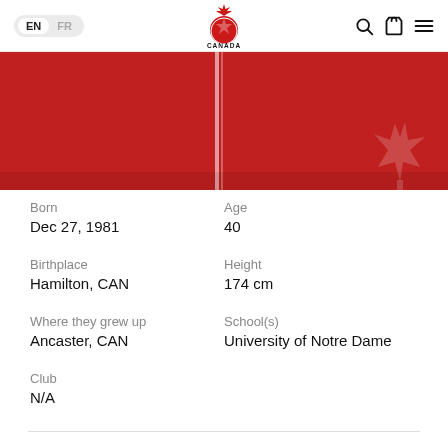EN | FR — Canada Soccer — Search, Cart, Menu
[Figure (photo): Red Canada Soccer jersey close-up with white stripe and maple leaf design]
Born
Dec 27, 1981
Age
40
Birthplace
Hamilton, CAN
Height
174 cm
Where they grew up
Ancaster, CAN
School(s)
University of Notre Dame
Club
N/A